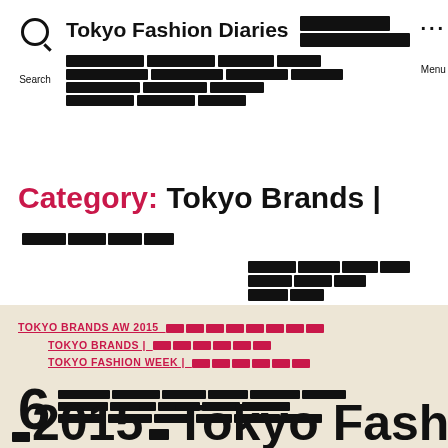Tokyo Fashion Diaries [redacted menu bar]
Category: Tokyo Brands | [redacted]
TOKYO BRANDS AW 2015 [redacted] | TOKYO BRANDS | [redacted] | TOKYO FASHION WEEK | [redacted]
6 [redacted article text block]
2015 [redacted] Tokyo Fashion